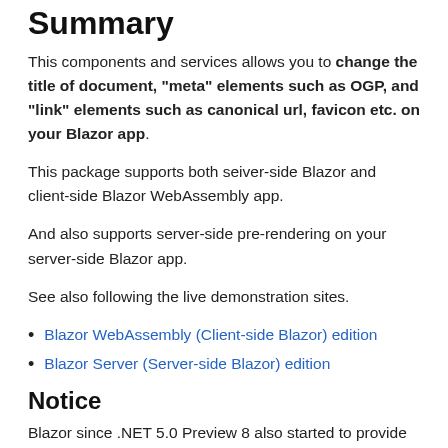Summary
This components and services allows you to change the title of document, "meta" elements such as OGP, and "link" elements such as canonical url, favicon etc. on your Blazor app.
This package supports both seiver-side Blazor and client-side Blazor WebAssembly app.
And also supports server-side pre-rendering on your server-side Blazor app.
See also following the live demonstration sites.
Blazor WebAssembly (Client-side Blazor) edition
Blazor Server (Server-side Blazor) edition
Notice
Blazor since .NET 5.0 Preview 8 also started to provide